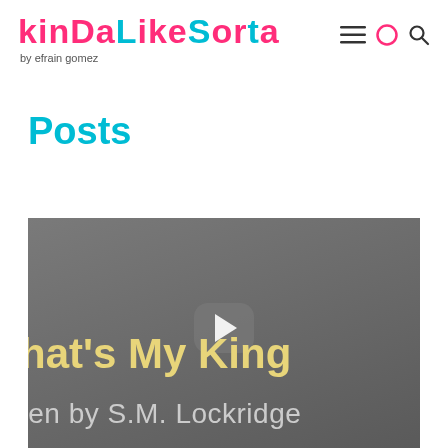KindaLikeSorta by efrain gomez
Posts
[Figure (screenshot): Video thumbnail with play button showing text "hat's My King" and "ten by S.M. Lockridge" on a dark grey background]